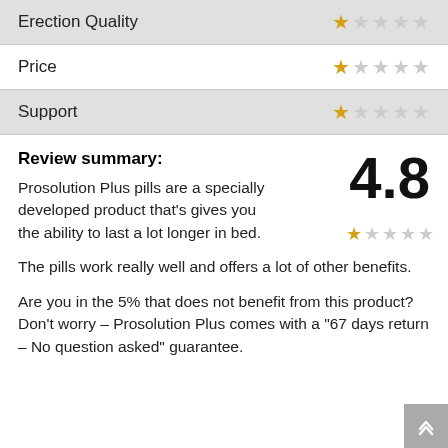| Category | Rating |
| --- | --- |
| Erection Quality | 1/5 stars |
| Price | 1/5 stars |
| Support | 1/5 stars |
Review summary:
Prosolution Plus pills are a specially developed product that’s gives you the ability to last a lot longer in bed.
4.8
The pills work really well and offers a lot of other benefits.
Are you in the 5% that does not benefit from this product? Don’t worry – Prosolution Plus comes with a “67 days return – No question asked” guarantee.